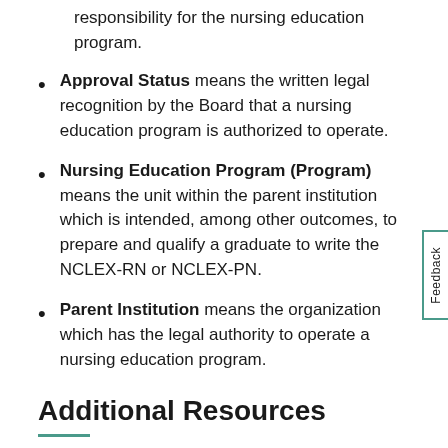responsibility for the nursing education program.
Approval Status means the written legal recognition by the Board that a nursing education program is authorized to operate.
Nursing Education Program (Program) means the unit within the parent institution which is intended, among other outcomes, to prepare and qualify a graduate to write the NCLEX-RN or NCLEX-PN.
Parent Institution means the organization which has the legal authority to operate a nursing education program.
Additional Resources
244 CMR 6.00: Approval of nursing